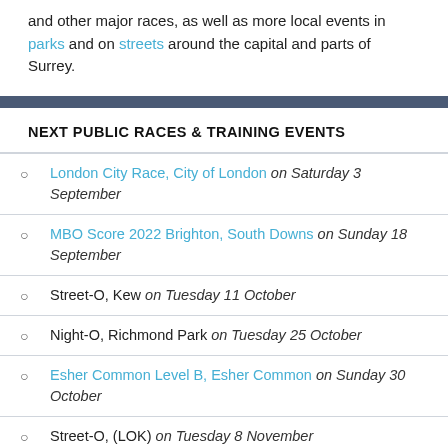and other major races, as well as more local events in parks and on streets around the capital and parts of Surrey.
NEXT PUBLIC RACES & TRAINING EVENTS
London City Race, City of London on Saturday 3 September
MBO Score 2022 Brighton, South Downs on Sunday 18 September
Street-O, Kew on Tuesday 11 October
Night-O, Richmond Park on Tuesday 25 October
Esher Common Level B, Esher Common on Sunday 30 October
Street-O, (LOK) on Tuesday 8 November